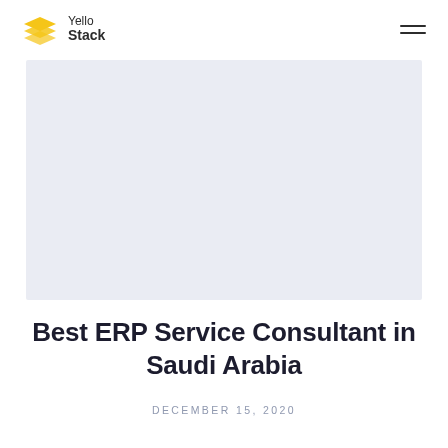YelloStack
[Figure (photo): Large light blue-gray hero image placeholder area for a blog post about ERP service consulting in Saudi Arabia]
Best ERP Service Consultant in Saudi Arabia
DECEMBER 15, 2020